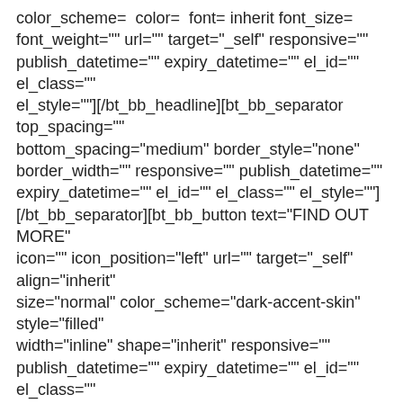color_scheme= color= font= inherit font_size= font_weight="" url="" target="_self" responsive="" publish_datetime="" expiry_datetime="" el_id="" el_class="" el_style=""][/bt_bb_headline][bt_bb_separator top_spacing="" bottom_spacing="medium" border_style="none" border_width="" responsive="" publish_datetime="" expiry_datetime="" el_id="" el_class="" el_style=""] [/bt_bb_separator][bt_bb_button text="FIND OUT MORE" icon="" icon_position="left" url="" target="_self" align="inherit" size="normal" color_scheme="dark-accent-skin" style="filled" width="inline" shape="inherit" responsive="" publish_datetime="" expiry_datetime="" el_id="" el_class="" el_style=""][/bt_bb_button][bt_bb_button text="VIEW OTHER CLASSES" icon="" icon_position="left" url="" target="_self" align="inherit" size="normal" color_scheme="dark-alternate-skin-1" style="filled" width="inline" shape="inherit" responsive="" publish_datetime="" expiry_datetime="" el_id="" el_class="" el_style=""][/bt_bb_button][bt_bb_separator top_spacing="" bottom_spacing="extra_large"